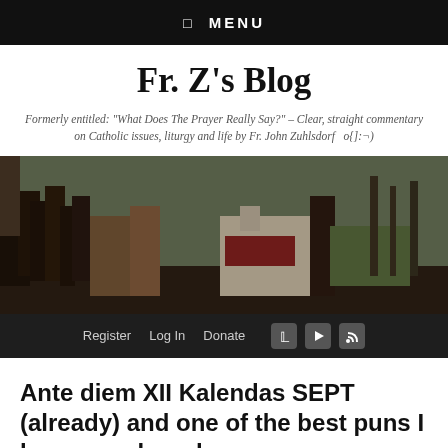☰  MENU
Fr. Z's Blog
Formerly entitled: "What Does The Prayer Really Say?" – Clear, straight commentary on Catholic issues, liturgy and life by Fr. John Zuhlsdorf   o{]:¬)
[Figure (photo): Wide banner painting showing medieval/religious scene with monks and figures on horseback outdoors]
Register   Log In   Donate
Ante diem XII Kalendas SEPT (already) and one of the best puns I have ever heard
Posted on 22 August 2011 by Fr. John Zuhlsdorf